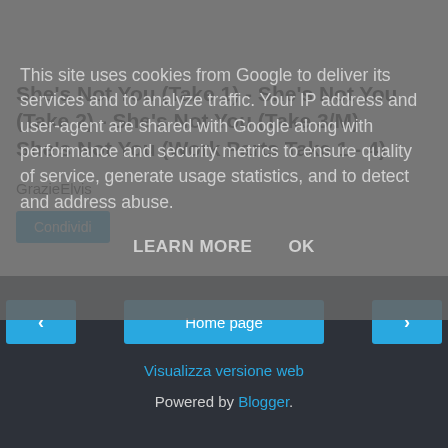This site uses cookies from Google to deliver its services and to analyze traffic. Your IP address and user-agent are shared with Google along with performance and security metrics to ensure quality of service, generate usage statistics, and to detect and address abuse.
LEARN MORE   OK
She's Not You (Take 1) - She's Not You (Take 2) - She's Not You (Take 3/M) - She's Not You (Work Parts Take 1 - 4)
GrazieElvis
Condividi
Home page
Visualizza versione web
Powered by Blogger.